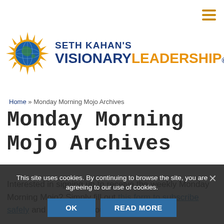[Figure (logo): Seth Kahan's Visionary Leadership logo with sun/globe icon]
Home » Monday Morning Mojo Archives
Monday Morning Mojo Archives
Interested in signing up to receive the weekly Monday Morning Mojo? Simply fill out this form to subscribe safely and you can opt-out at any time.
Celebrating Those who Toil and Serve – September 5, 2016
Sita Shows Up When the Heat Comes
This site uses cookies. By continuing to browse the site, you are agreeing to our use of cookies.